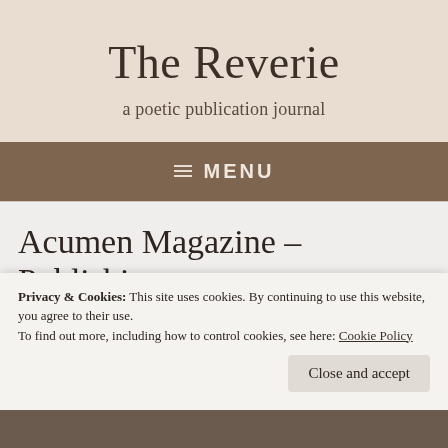The Reverie
a poetic publication journal
≡ MENU
Acumen Magazine – Publishing Opportunity
Privacy & Cookies: This site uses cookies. By continuing to use this website, you agree to their use.
To find out more, including how to control cookies, see here: Cookie Policy
Close and accept
[Figure (photo): Dark brown photographic strip at the bottom of the page]